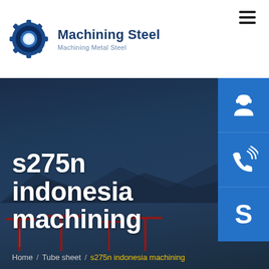[Figure (logo): Machining Steel gear/cog logo icon in blue]
Machining Steel
Machining Metal Steel
[Figure (photo): Hero image showing a dark blue toned industrial port/harbor scene with mountains in background and cranes in foreground]
s275n indonesia machining
Home / Tube sheet / s275n indonesia machining